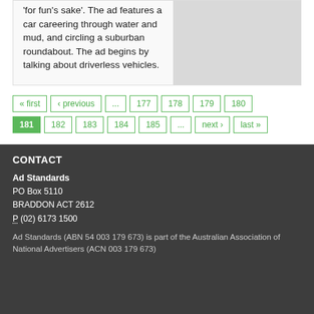'for fun's sake'. The ad features a car careering through water and mud, and circling a suburban roundabout. The ad begins by talking about driverless vehicles.
« first
‹ previous
...
177
178
179
180
181
182
183
184
185
...
next ›
last »
CONTACT
Ad Standards
PO Box 5110
BRADDON ACT 2612
P. (02) 6173 1500
Ad Standards (ABN 54 003 179 673) is part of the Australian Association of National Advertisers (ACN 003 179 673)